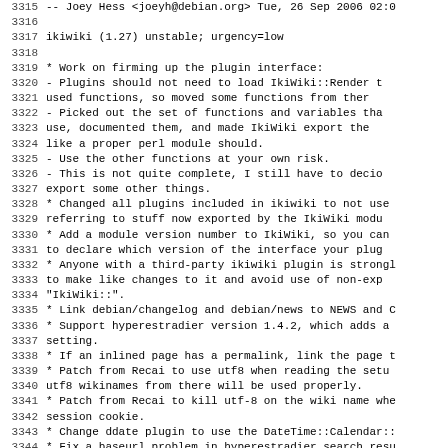Debian changelog/source code log lines 3315-3346
3315  -- Joey Hess <joeyh@debian.org>  Tue, 26 Sep 2006 02:0
3316
3317 ikiwiki (1.27) unstable; urgency=low
3318
3319   * Work on firming up the plugin interface:
3320     - Plugins should not need to load IkiWiki::Render t
3321       used functions, so moved some functions from ther
3322     - Picked out the set of functions and variables tha
3323       use, documented them, and made IkiWiki export the
3324       like a proper perl module should.
3325     - Use the other functions at your own risk.
3326     - This is not quite complete, I still have to decio
3327       export some other things.
3328   * Changed all plugins included in ikiwiki to not use
3329     referring to stuff now exported by the IkiWiki modu
3330   * Add a module version number to IkiWiki, so you can
3331     to declare which version of the interface your plug
3332   * Anyone with a third-party ikiwiki plugin is strongl
3333     to make like changes to it and avoid use of non-exp
3334     "IkiWiki::".
3335   * Link debian/changelog and debian/news to NEWS and C
3336   * Support hyperestradier version 1.4.2, which adds a
3337     setting.
3338   * If an inlined page has a permalink, link the page t
3339   * Patch from Recai to use utf8 when reading the setu
3340     utf8 wikinames from there will be used properly.
3341   * Patch from Recai to kill utf-8 on the wiki name whe
3342     session cookie.
3343   * Change ddate plugin to use the DateTime::Calendar::
3344   * Fix a baseurl problem in hyperestradier search resu
3345   * Add a stub local.css to avoid problems with 404's.
3346   * Patch from Recai to fix a wide character warning f